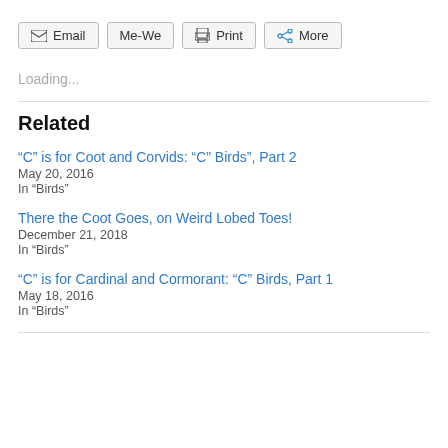[Figure (screenshot): Toolbar with four buttons: Email, Me-We, Print, More]
Loading...
Related
"C" is for Coot and Corvids: "C" Birds", Part 2
May 20, 2016
In "Birds"
There the Coot Goes, on Weird Lobed Toes!
December 21, 2018
In "Birds"
"C" is for Cardinal and Cormorant: "C" Birds, Part 1
May 18, 2016
In "Birds"